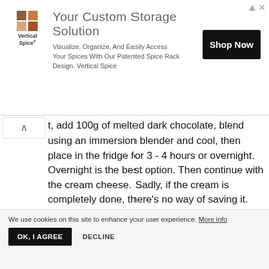[Figure (other): Vertical Spice advertisement banner: logo with colored squares grid, headline 'Your Custom Storage Solution', description text, and 'Shop Now' button]
t, add 100g of melted dark chocolate, blend using an immersion blender and cool, then place in the fridge for 3 - 4 hours or overnight. Overnight is the best option. Then continue with the cream cheese. Sadly, if the cream is completely done, there's no way of saving it. Hope that helps.
Jenni Puhakka → jernejkitchen
4 years ago
Yep you were right, the problem was the % of the chocolate! But: it was just a matter of few percentages :D I failed with 43% but succeeded with 47%
We use cookies on this site to enhance your user experience. More info